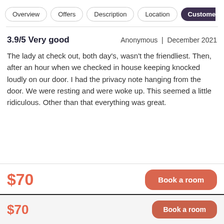Overview | Offers | Description | Location | Customer
3.9/5 Very good
Anonymous | December 2021
The lady at check out, both day's, wasn't the friendliest. Then, after an hour when we checked in house keeping knocked loudly on our door. I had the privacy note hanging from the door. We were resting and were woke up. This seemed a little ridiculous. Other than that everything was great.
$70
Book a room
$70
Book a room